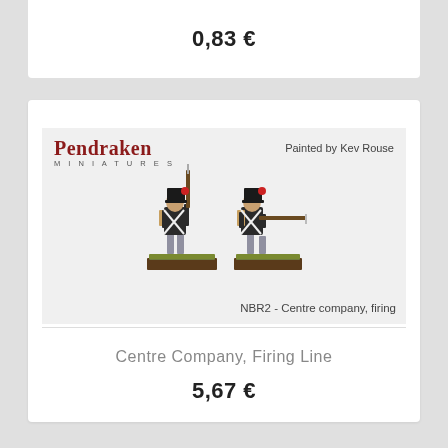0,83 €
[Figure (photo): Pendraken Miniatures product image showing two painted military miniature figures (NBR2 - Centre company, firing) on a green base, with Pendraken Miniatures logo and 'Painted by Kev Rouse' text]
NBR2 - Centre company, firing
Centre Company, Firing Line
5,67 €